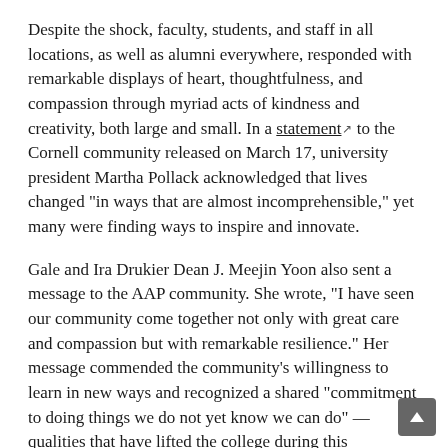Despite the shock, faculty, students, and staff in all locations, as well as alumni everywhere, responded with remarkable displays of heart, thoughtfulness, and compassion through myriad acts of kindness and creativity, both large and small. In a statement ↗ to the Cornell community released on March 17, university president Martha Pollack acknowledged that lives changed "in ways that are almost incomprehensible," yet many were finding ways to inspire and innovate.
Gale and Ira Drukier Dean J. Meejin Yoon also sent a message to the AAP community. She wrote, "I have seen our community come together not only with great care and compassion but with remarkable resilience." Her message commended the community's willingness to learn in new ways and recognized a shared "commitment to doing things we do not yet know we can do" — qualities that have lifted the college during this unprecedented time.
In Response: Rome, New York City, Quarantine, and Campus